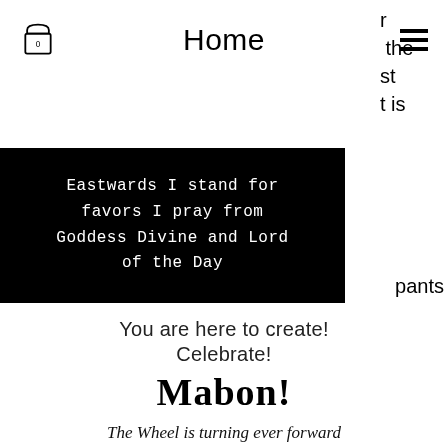Home
Eastwards I stand for favors I pray from Goddess Divine and Lord of the Day
You are here to create! Celebrate! Mabon!
The Wheel is turning ever forward Whisper thee your act of closure Fill the cauldron, light the fire Cast the magick ever higher! Find the laughter, make ye merry Mother's heartbeat, act of Fairy